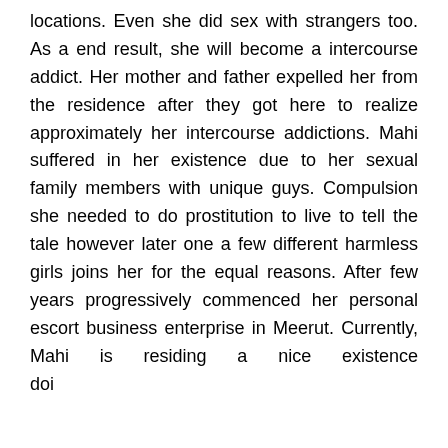locations. Even she did sex with strangers too. As a end result, she will become a intercourse addict. Her mother and father expelled her from the residence after they got here to realize approximately her intercourse addictions. Mahi suffered in her existence due to her sexual family members with unique guys. Compulsion she needed to do prostitution to live to tell the tale however later one a few different harmless girls joins her for the equal reasons. After few years progressively commenced her personal escort business enterprise in Meerut. Currently, Mahi is residing a nice existence doing to be doing intercourse paintings fo s in our escort business enterprise.
[Figure (other): Green rounded WhatsApp button overlay with text 'Whats App']
[Figure (other): Green circular phone/call button icon]
CALL GIRL IN HARIDWAR